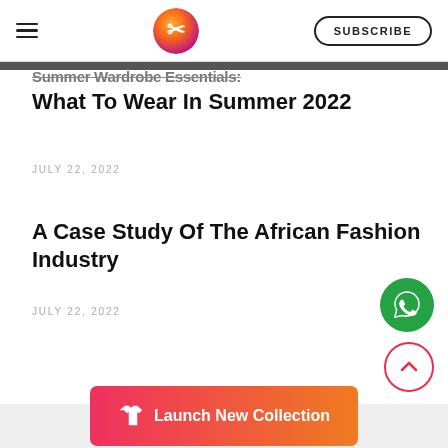Navigation header with hamburger menu, logo, and SUBSCRIBE button
Summer Wardrobe Essentials: What To Wear In Summer 2022
JULY 22, 2022
A Case Study Of The African Fashion Industry
JULY 22, 2022
[Figure (other): WhatsApp contact button (green circle with WhatsApp icon)]
[Figure (other): Scroll-to-top button (red circle outline with chevron up icon)]
[Figure (other): Launch New Collection orange-pink gradient button with t-shirt icon]